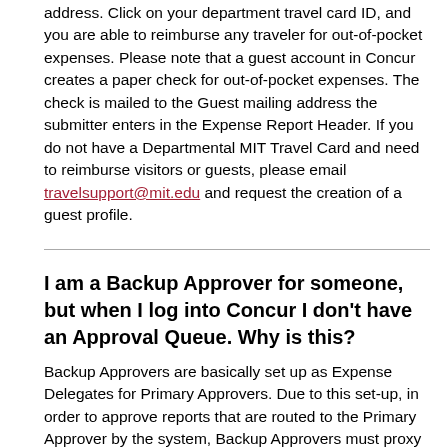address. Click on your department travel card ID, and you are able to reimburse any traveler for out-of-pocket expenses. Please note that a guest account in Concur creates a paper check for out-of-pocket expenses. The check is mailed to the Guest mailing address the submitter enters in the Expense Report Header. If you do not have a Departmental MIT Travel Card and need to reimburse visitors or guests, please email travelsupport@mit.edu and request the creation of a guest profile.
I am a Backup Approver for someone, but when I log into Concur I don't have an Approval Queue. Why is this?
Backup Approvers are basically set up as Expense Delegates for Primary Approvers. Due to this set-up, in order to approve reports that are routed to the Primary Approver by the system, Backup Approvers must proxy in under the Primary Approver's name. This is done by selecting the approver's